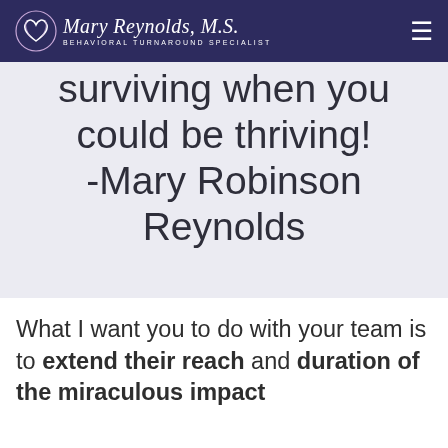Mary Reynolds, M.S. — BEHAVIORAL TURNAROUND SPECIALIST
surviving when you could be thriving! -Mary Robinson Reynolds
What I want you to do with your team is to extend their reach and duration of the miraculous impact